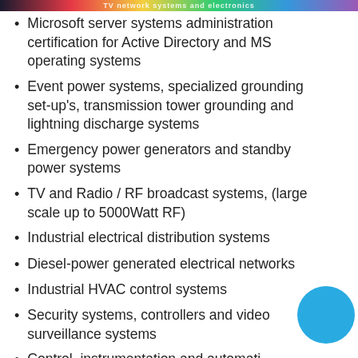TV network systems and electronics
Microsoft server systems administration certification for Active Directory and MS operating systems
Event power systems, specialized grounding set-up's, transmission tower grounding and lightning discharge systems
Emergency power generators and standby power systems
TV and Radio / RF broadcast systems, (large scale up to 5000Watt RF)
Industrial electrical distribution systems
Diesel-power generated electrical networks
Industrial HVAC control systems
Security systems, controllers and video surveillance systems
Control, instrumentation and automation systems
Project management – budget control